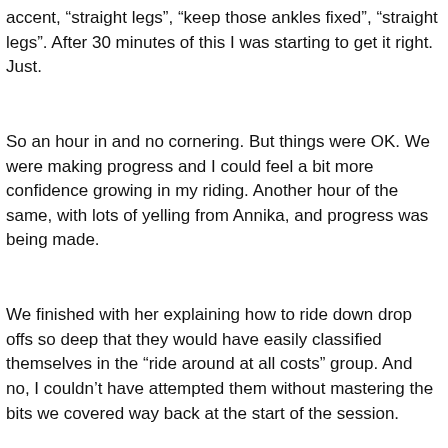accent, “straight legs”, “keep those ankles fixed”, “straight legs”. After 30 minutes of this I was starting to get it right. Just.
So an hour in and no cornering. But things were OK. We were making progress and I could feel a bit more confidence growing in my riding. Another hour of the same, with lots of yelling from Annika, and progress was being made.
We finished with her explaining how to ride down drop offs so deep that they would have easily classified themselves in the “ride around at all costs” group. And no, I couldn’t have attempted them without mastering the bits we covered way back at the start of the session.
So how does this experience relate to a success experience